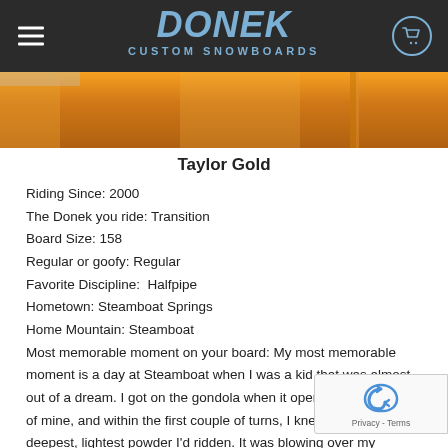DONEK CUSTOM SNOWBOARDS
[Figure (photo): Close-up photo of orange jacket/gear fabric with zipper]
Taylor Gold
Riding Since: 2000
The Donek you ride: Transition
Board Size: 158
Regular or goofy: Regular
Favorite Discipline:  Halfpipe
Hometown: Steamboat Springs
Home Mountain: Steamboat
Most memorable moment on your board: My most memorable moment is a day at Steamboat when I was a kid that was almost out of a dream. I got on the gondola when it opened with a friend of mine, and within the first couple of turns, I knew I was riding the deepest, lightest powder I'd ridden. It was blowing over my shoulders all the way down the mountain, as bottomless and as deep as you could want, but